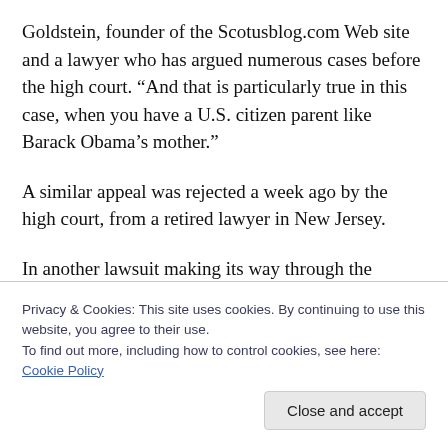Goldstein, founder of the Scotusblog.com Web site and a lawyer who has argued numerous cases before the high court. “And that is particularly true in this case, when you have a U.S. citizen parent like Barack Obama’s mother.”
A similar appeal was rejected a week ago by the high court, from a retired lawyer in New Jersey.
In another lawsuit making its way through the courts, Philip Berg of Pennsylvania alleges the president-elect was actually born in Kenya. Berg claims Hawaiian officials
Privacy & Cookies: This site uses cookies. By continuing to use this website, you agree to their use.
To find out more, including how to control cookies, see here: Cookie Policy